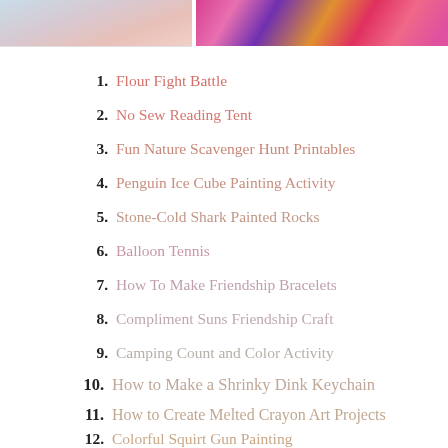[Figure (photo): Two cropped photos at top: left shows a light-colored craft/activity image, right shows a colorful paint splatter or artistic activity image]
1. Flour Fight Battle
2. No Sew Reading Tent
3. Fun Nature Scavenger Hunt Printables
4. Penguin Ice Cube Painting Activity
5. Stone-Cold Shark Painted Rocks
6. Balloon Tennis
7. How To Make Friendship Bracelets
8. Compliment Suns Friendship Craft
9. Camping Count and Color Activity
10. How to Make a Shrinky Dink Keychain
11. How to Create Melted Crayon Art Projects
12. Colorful Squirt Gun Painting
13. Handprint Campfire Craft